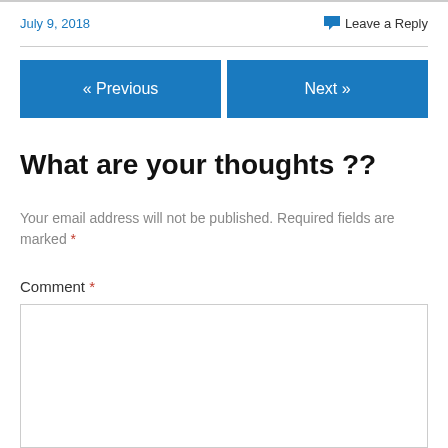July 9, 2018
Leave a Reply
« Previous
Next »
What are your thoughts ??
Your email address will not be published. Required fields are marked *
Comment *